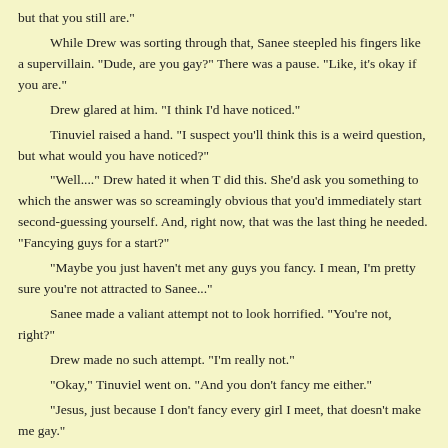but that you still are."
While Drew was sorting through that, Sanee steepled his fingers like a supervillain. "Dude, are you gay?" There was a pause. "Like, it's okay if you are."
Drew glared at him. "I think I'd have noticed."
Tinuviel raised a hand. "I suspect you'll think this is a weird question, but what would you have noticed?"
"Well...." Drew hated it when T did this. She'd ask you something to which the answer was so screamingly obvious that you'd immediately start second-guessing yourself. And, right now, that was the last thing he needed. "Fancying guys for a start?"
"Maybe you just haven't met any guys you fancy. I mean, I'm pretty sure you're not attracted to Sanee..."
Sanee made a valiant attempt not to look horrified. "You're not, right?"
Drew made no such attempt. "I'm really not."
"Okay," Tinuviel went on. "And you don't fancy me either."
"Jesus, just because I don't fancy every girl I meet, that doesn't make me gay."
She looked smug. "And by the same argument, not fancying every boy you meet doesn't make you straight."
There was a really long silence.
"Holy shit," gasped Sanee. "That's a really scary thought."
"I can imagine it would be to a lot of people, but actually there's nothing scary about rejecting heteronormative notions of binary sexuality."
"So you're saying," said Drew slowly, "I could be gay and not know it? Because that sort of